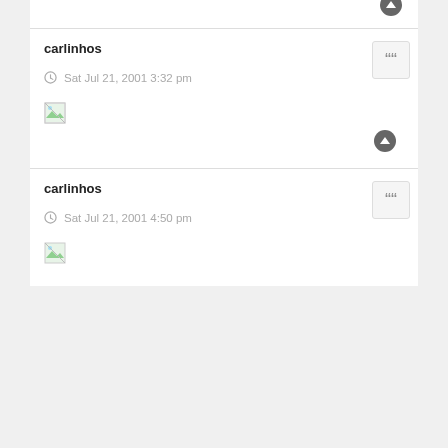carlinhos
Sat Jul 21, 2001 3:32 pm
[Figure (other): Broken image placeholder icon]
carlinhos
Sat Jul 21, 2001 4:50 pm
[Figure (other): Broken image placeholder icon]